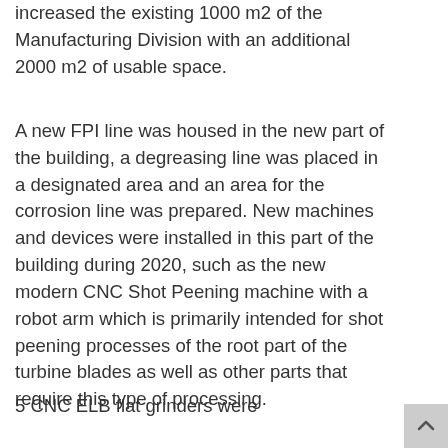increased the existing 1000 m2 of the Manufacturing Division with an additional 2000 m2 of usable space.
A new FPI line was housed in the new part of the building, a degreasing line was placed in a designated area and an area for the corrosion line was prepared. New machines and devices were installed in this part of the building during 2020, such as the new modern CNC Shot Peening machine with a robot arm which is primarily intended for shot peening processes of the root part of the turbine blades as well as other parts that require this type of processing.
5 CNC ELB flat grinders were installed, which are connected to the...